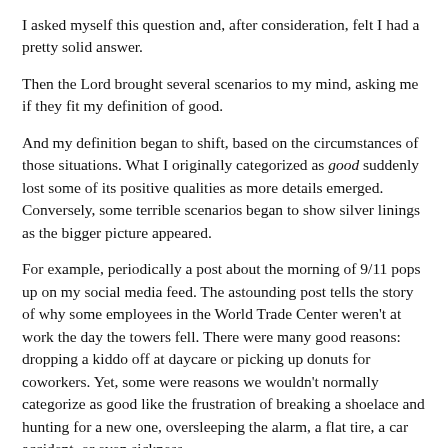I asked myself this question and, after consideration, felt I had a pretty solid answer.
Then the Lord brought several scenarios to my mind, asking me if they fit my definition of good.
And my definition began to shift, based on the circumstances of those situations. What I originally categorized as good suddenly lost some of its positive qualities as more details emerged. Conversely, some terrible scenarios began to show silver linings as the bigger picture appeared.
For example, periodically a post about the morning of 9/11 pops up on my social media feed. The astounding post tells the story of why some employees in the World Trade Center weren't at work the day the towers fell. There were many good reasons: dropping a kiddo off at daycare or picking up donuts for coworkers. Yet, some were reasons we wouldn't normally categorize as good like the frustration of breaking a shoelace and hunting for a new one, oversleeping the alarm, a flat tire, a car accident, or even sickness.